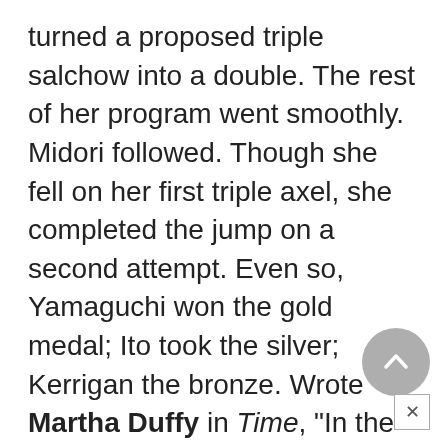turned a proposed triple salchow into a double. The rest of her program went smoothly. Midori followed. Though she fell on her first triple axel, she completed the jump on a second attempt. Even so, Yamaguchi won the gold medal; Ito took the silver; Kerrigan the bronze. Wrote Martha Duffy in Time, "In the current high-vaulting, teeter-totter world of skating, to jump is to survive, to land upright is to prevail."